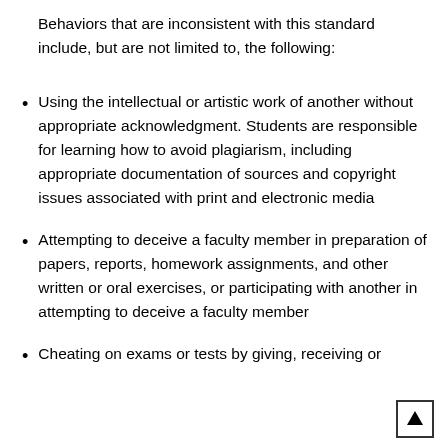Behaviors that are inconsistent with this standard include, but are not limited to, the following:
Using the intellectual or artistic work of another without appropriate acknowledgment. Students are responsible for learning how to avoid plagiarism, including appropriate documentation of sources and copyright issues associated with print and electronic media
Attempting to deceive a faculty member in preparation of papers, reports, homework assignments, and other written or oral exercises, or participating with another in attempting to deceive a faculty member
Cheating on exams or tests by giving, receiving or